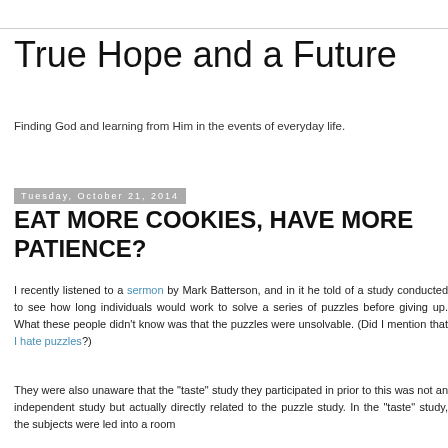True Hope and a Future
Finding God and learning from Him in the events of everyday life.
Tuesday, October 21, 2014
EAT MORE COOKIES, HAVE MORE PATIENCE?
I recently listened to a sermon by Mark Batterson, and in it he told of a study conducted to see how long individuals would work to solve a series of puzzles before giving up. What these people didn't know was that the puzzles were unsolvable. (Did I mention that I hate puzzles?)
They were also unaware that the "taste" study they participated in prior to this was not an independent study but actually directly related to the puzzle study. In the "taste" study, the subjects were led into a room